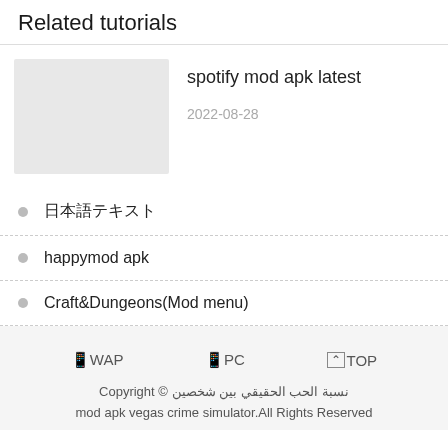Related tutorials
[Figure (other): Thumbnail placeholder image (light gray rectangle) for spotify mod apk latest tutorial]
spotify mod apk latest
2022-08-28
日本語テキスト (CJK characters)
happymod apk
Craft&Dungeons(Mod menu)
📱WAP  📱PC  ⌃TOP
Copyright © نسبة الحب الحقيقي بين شخصين
mod apk vegas crime simulator.All Rights Reserved